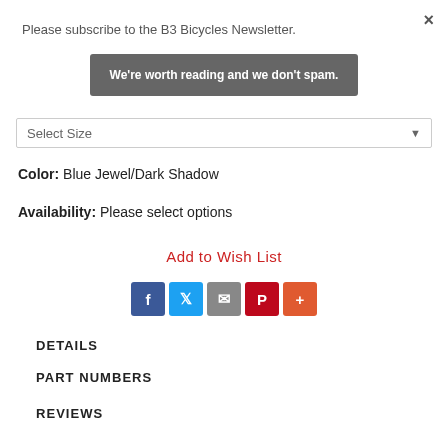×
Please subscribe to the B3 Bicycles Newsletter.
We're worth reading and we don't spam.
Select Size
Color:  Blue Jewel/Dark Shadow
Availability:  Please select options
Add to Wish List
[Figure (infographic): Social share buttons: Facebook, Twitter, Email, Pinterest, More]
DETAILS
PART NUMBERS
REVIEWS